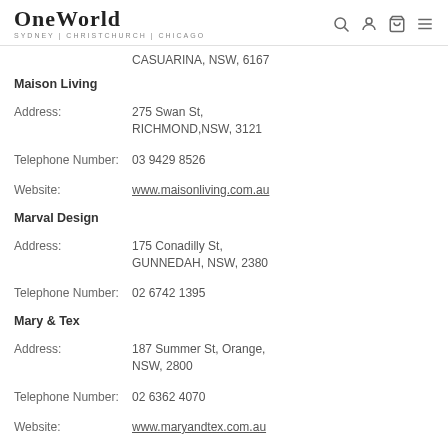OneWorld SYDNEY | CHRISTCHURCH | CHICAGO
CASUARINA, NSW, 6167
Maison Living
Address: 275 Swan St, RICHMOND,NSW, 3121
Telephone Number: 03 9429 8526
Website: www.maisonliving.com.au
Marval Design
Address: 175 Conadilly St, GUNNEDAH, NSW, 2380
Telephone Number: 02 6742 1395
Mary & Tex
Address: 187 Summer St, Orange, NSW, 2800
Telephone Number: 02 6362 4070
Website: www.maryandtex.com.au